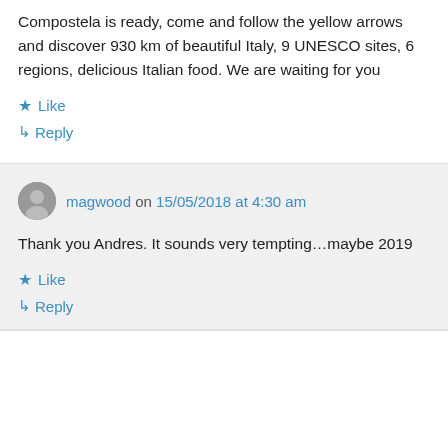Compostela is ready, come and follow the yellow arrows and discover 930 km of beautiful Italy, 9 UNESCO sites, 6 regions, delicious Italian food. We are waiting for you
★ Like
↳ Reply
magwood on 15/05/2018 at 4:30 am
Thank you Andres. It sounds very tempting…maybe 2019
★ Like
↳ Reply